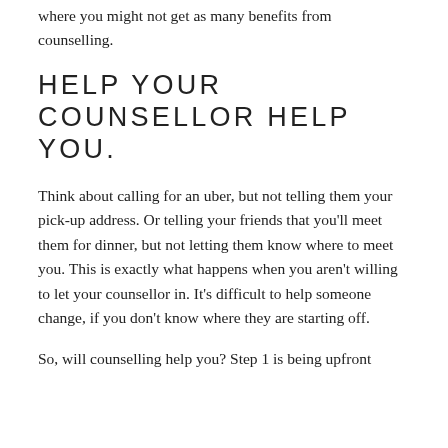where you might not get as many benefits from counselling.
HELP YOUR COUNSELLOR HELP YOU.
Think about calling for an uber, but not telling them your pick-up address. Or telling your friends that you’ll meet them for dinner, but not letting them know where to meet you. This is exactly what happens when you aren’t willing to let your counsellor in. It’s difficult to help someone change, if you don’t know where they are starting off.
So, will counselling help you? Step 1 is being upfront